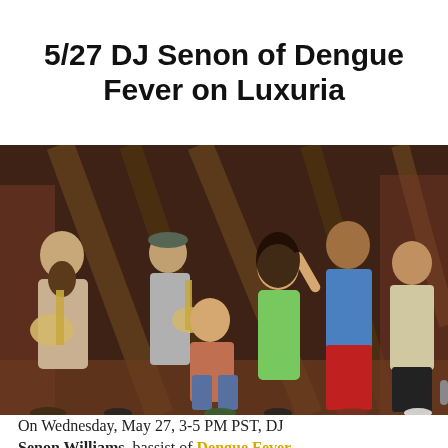5/27 DJ Senon of Dengue Fever on Luxuria
[Figure (photo): Band photo of Dengue Fever — six musicians posing in an industrial or warehouse setting with brick walls and angled wooden beams. Members include a man with a long beard holding a guitar, a man in a cap with a guitar, a man crouching in a plaid shirt, a woman in a green dress with arm raised, a tall man in a floral shirt with red pants, and a man in a floral shirt on the right.]
On Wednesday, May 27, 3-5 PM PST, DJ Senon Williams, bassist of Dengue Fever